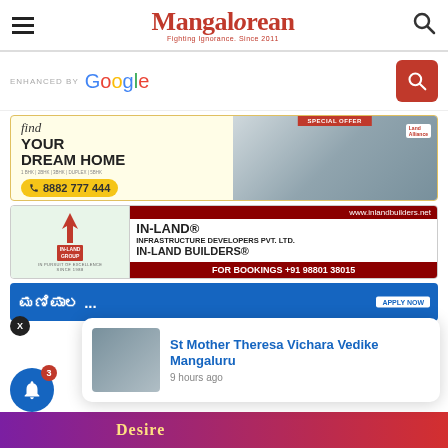Mangalorean — Fighting Ignorance. Since 2011
ENHANCED BY Google
[Figure (infographic): Land Alliance real estate ad: 'find YOUR DREAM HOME' with phone number 8882 777 444, showing apartment interior image with SPECIAL OFFER banner]
[Figure (infographic): IN-LAND INFRASTRUCTURE DEVELOPERS PVT. LTD. / IN-LAND BUILDERS ad with website www.inlandbuilders.net and booking number +91 98801 38015]
[Figure (infographic): Partial blue banner ad in Kannada script with APPLY NOW button]
[Figure (infographic): Notification popup: St Mother Theresa Vichara Vedike Mangaluru — 9 hours ago, with audience photo thumbnail]
[Figure (infographic): Partial bottom banner with colorful fruit/desire text]